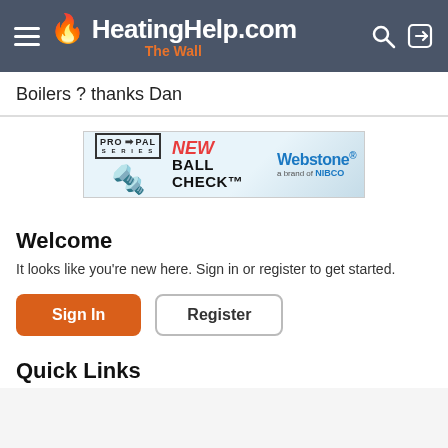HeatingHelp.com The Wall
Boilers ? thanks Dan
[Figure (infographic): PRO-PAL SERIES NEW BALL CHECK Webstone a brand of NIBCO advertisement banner]
Welcome
It looks like you're new here. Sign in or register to get started.
Sign In
Register
Quick Links